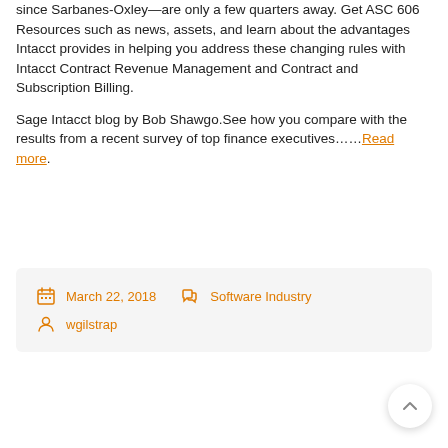Some of the most far-reaching changes to accounting since Sarbanes-Oxley—are only a few quarters away. Get ASC 606 Resources such as news, assets, and learn about the advantages Intacct provides in helping you address these changing rules with Intacct Contract Revenue Management and Contract and Subscription Billing.
Sage Intacct blog by Bob Shawgo.See how you compare with the results from a recent survey of top finance executives……Read more.
March 22, 2018  Software Industry  wgilstrap